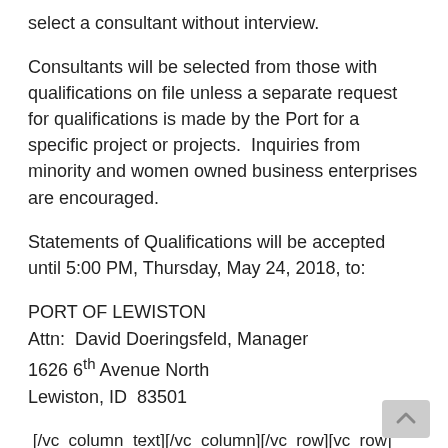select a consultant without interview.
Consultants will be selected from those with qualifications on file unless a separate request for qualifications is made by the Port for a specific project or projects.  Inquiries from minority and women owned business enterprises are encouraged.
Statements of Qualifications will be accepted until 5:00 PM, Thursday, May 24, 2018, to:
PORT OF LEWISTON
Attn:  David Doeringsfeld, Manager
1626 6th Avenue North
Lewiston, ID  83501
[/vc_column_text][/vc_column][/vc_row][vc_row][vc_column][vc_btn title="Download RFQ" link="url:http%3A%2F%2Fportoflewiston.com%2Fwp-content%2Fuploads%2F2018%2F04%2FRFQ-